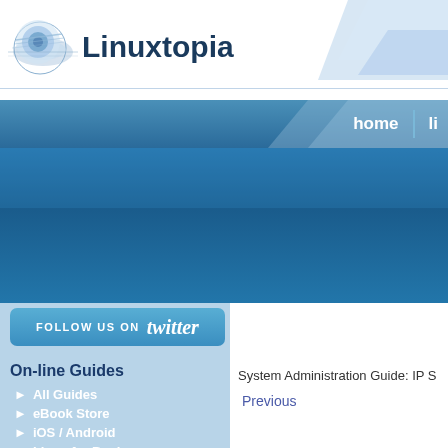Linuxtopia
[Figure (logo): Linuxtopia logo with blue circular disc icon and bold text]
[Figure (screenshot): Navigation bar with home and other nav items on blue background]
[Figure (infographic): Blue banner area below navigation]
[Figure (infographic): Follow us on Twitter button in blue rounded rectangle]
On-line Guides
All Guides
eBook Store
iOS / Android
Linux for Beginners
Office Productivity
Linux Installation
Linux Security
Linux Utilities
Linux Virtualization
System Administration Guide: IP S
Previous